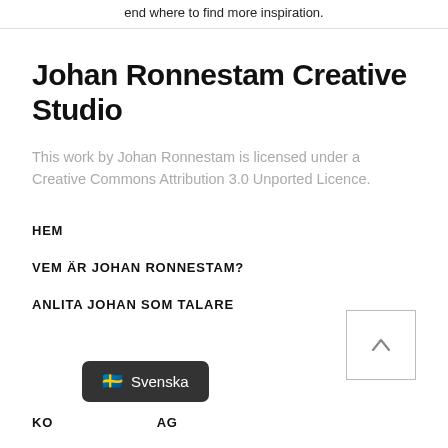end where to find more inspiration.
Johan Ronnestam Creative Studio
This work by Johan Ronnestam is licensed under a Creative Commons Attribution 3.0 Unported Licence.
HEM
VEM ÄR JOHAN RONNESTAM?
ANLITA JOHAN SOM TALARE
KO... AG
[Figure (other): Back to top button — a square button with an upward-pointing chevron arrow]
🇸🇪 Svenska